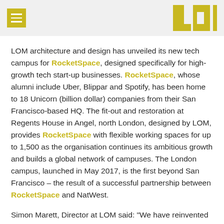LOM (logo with hamburger menu)
LOM architecture and design has unveiled its new tech campus for RocketSpace, designed specifically for high-growth tech start-up businesses. RocketSpace, whose alumni include Uber, Blippar and Spotify, has been home to 18 Unicorn (billion dollar) companies from their San Francisco-based HQ. The fit-out and restoration at Regents House in Angel, north London, designed by LOM, provides RocketSpace with flexible working spaces for up to 1,500 as the organisation continues its ambitious growth and builds a global network of campuses. The London campus, launched in May 2017, is the first beyond San Francisco – the result of a successful partnership between RocketSpace and NatWest.
Simon Marett, Director at LOM said: "We have reinvented a redundant cash holding centre, bank vault and dated offices to create a state of the art campus that will support RocketSpace's members through each stage of their growth."